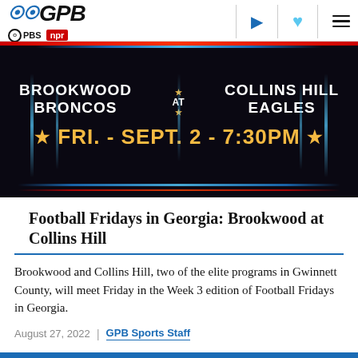GPB | PBS | NPR
[Figure (photo): Scoreboard showing Brookwood Broncos at Collins Hill Eagles, Fri. - Sept. 2 - 7:30PM, with neon/LED display styling]
Football Fridays in Georgia: Brookwood at Collins Hill
Brookwood and Collins Hill, two of the elite programs in Gwinnett County, will meet Friday in the Week 3 edition of Football Fridays in Georgia.
August 27, 2022  |  GPB Sports Staff